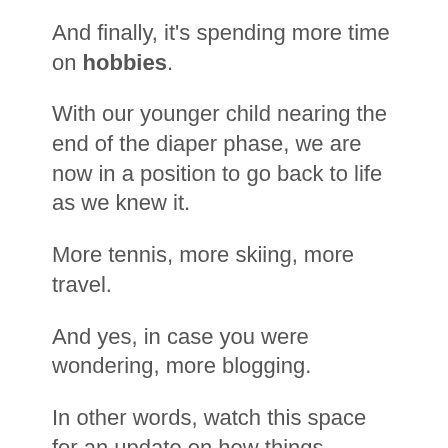And finally, it's spending more time on hobbies.
With our younger child nearing the end of the diaper phase, we are now in a position to go back to life as we knew it.
More tennis, more skiing, more travel.
And yes, in case you were wondering, more blogging.
In other words, watch this space for an update on how things actually panned out.
ETA?  June 2031.
In the meantime, many thanks for reading – and happy birthday to me!